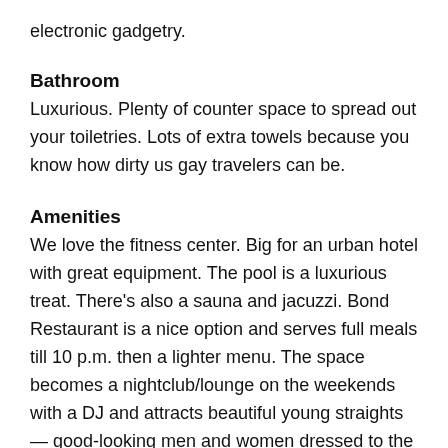electronic gadgetry.
Bathroom
Luxurious. Plenty of counter space to spread out your toiletries. Lots of extra towels because you know how dirty us gay travelers can be.
Amenities
We love the fitness center. Big for an urban hotel with great equipment. The pool is a luxurious treat. There's also a sauna and jacuzzi. Bond Restaurant is a nice option and serves full meals till 10 p.m. then a lighter menu. The space becomes a nightclub/lounge on the weekends with a DJ and attracts beautiful young straights — good-looking men and women dressed to the nines. It offers great people and a really nice atmosphere and great food. If they're on offer, try the duck flat bread and Thai spring